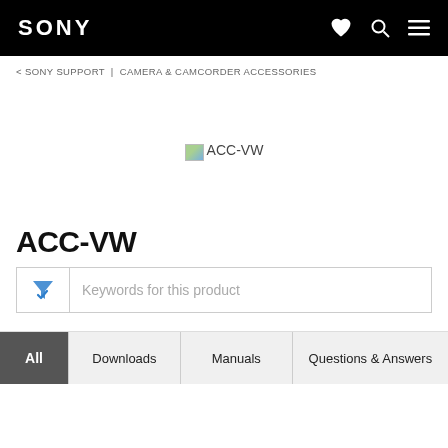SONY
< SONY SUPPORT | CAMERA & CAMCORDER ACCESSORIES
[Figure (other): Broken/missing product image placeholder for ACC-VW with alt text 'ACC-VW']
ACC-VW
Keywords for this product
All | Downloads | Manuals | Questions & Answers